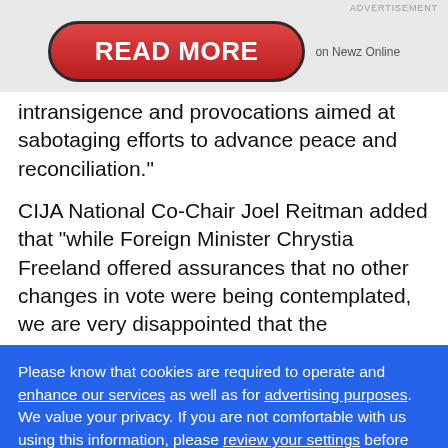ADVERTISEMENT
[Figure (other): Red rounded rectangle button with bold white text READ MORE, labeled 'on Newz Online' to the right]
intransigence and provocations aimed at sabotaging efforts to advance peace and reconciliation."
CIJA National Co-Chair Joel Reitman added that "while Foreign Minister Chrystia Freeland offered assurances that no other changes in vote were being contemplated, we are very disappointed that the
Please know that cookies are required to operate and enhance our services as well as for advertising purposes. We value your privacy. If you are not comfortable with us using this information, please review your settings before continuing your visit.
Learn more
✕ Close